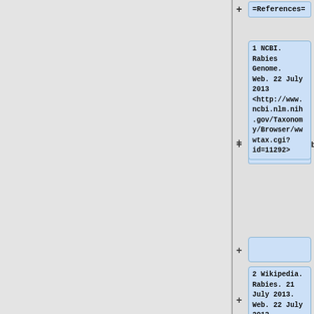=References=
1 NCBI. Rabies Genome. Web. 22 July 2013 <http://www.ncbi.nlm.nih.gov/Taxonomy/Browser/wwwtax.cgi?id=11292>
2 Wikipedia. Rabies. 21 July 2013. Web. 22 July 2013 <http://en.wikipedia.org